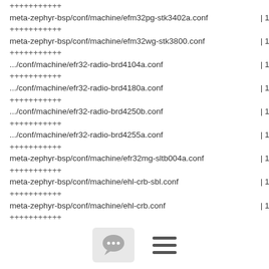+++++++++++
meta-zephyr-bsp/conf/machine/efm32pg-stk3402a.conf    | 11
+++++++++++
meta-zephyr-bsp/conf/machine/efm32wg-stk3800.conf      | 11
+++++++++++
.../conf/machine/efr32-radio-brd4104a.conf              | 11
+++++++++++
.../conf/machine/efr32-radio-brd4180a.conf              | 11
+++++++++++
.../conf/machine/efr32-radio-brd4250b.conf              | 11
+++++++++++
.../conf/machine/efr32-radio-brd4255a.conf              | 11
+++++++++++
meta-zephyr-bsp/conf/machine/efr32mg-sltb004a.conf     | 11
+++++++++++
meta-zephyr-bsp/conf/machine/ehl-crb-sbl.conf          | 11
+++++++++++
meta-zephyr-bsp/conf/machine/ehl-crb.conf              | 11
+++++++++++
meta-zephyr-bsp/conf/machine/em-starterkit-em11d.conf| 11